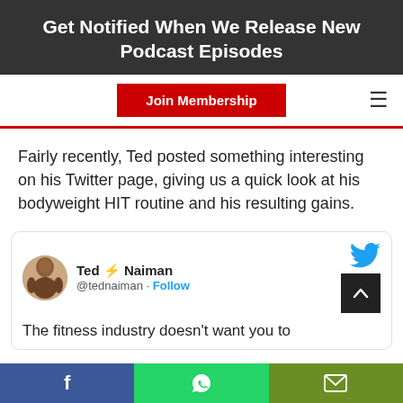Get Notified When We Release New Podcast Episodes
Join Membership
Fairly recently, Ted posted something interesting on his Twitter page, giving us a quick look at his bodyweight HIT routine and his resulting gains.
[Figure (screenshot): Embedded tweet from Ted Naiman (@tednaiman) with Follow link and Twitter bird icon. Tweet text begins: The fitness industry doesn't want you to]
Facebook share | WhatsApp share | Email share